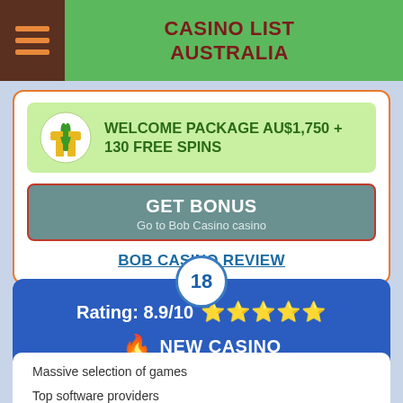CASINO LIST AUSTRALIA
WELCOME PACKAGE AU$1,750 + 130 FREE SPINS
GET BONUS
Go to Bob Casino casino
BOB CASINO REVIEW
18
Rating: 8.9/10 ★★★★½
NEW CASINO
Massive selection of games
Top software providers
High withdrawal limits